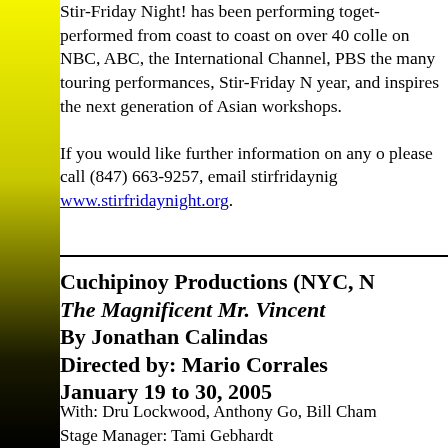Stir-Friday Night! has been performing together, performed from coast to coast on over 40 college campuses, on NBC, ABC, the International Channel, PBS, and more. In the many touring performances, Stir-Friday Night performs each year, and inspires the next generation of Asian Americans through workshops.
If you would like further information on any of our programs please call (847) 663-9257, email stirfridaynight@..., www.stirfridaynight.org.
Cuchipinoy Productions (NYC, NY)
The Magnificent Mr. Vincent
By Jonathan Calindas
Directed by: Mario Corrales
January 19 to 30, 2005
With: Dru Lockwood, Anthony Go, Bill Cham...
Stage Manager: Tami Gebhardt